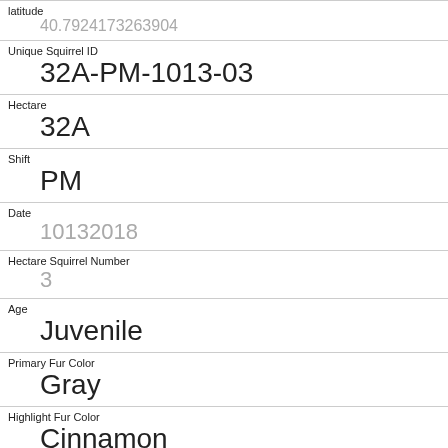| Field | Value |
| --- | --- |
| latitude | 40.7924173263904 |
| Unique Squirrel ID | 32A-PM-1013-03 |
| Hectare | 32A |
| Shift | PM |
| Date | 10132018 |
| Hectare Squirrel Number | 3 |
| Age | Juvenile |
| Primary Fur Color | Gray |
| Highlight Fur Color | Cinnamon |
| Combination of Primary and Highlight Color | Gray+Cinnamon |
| Color notes |  |